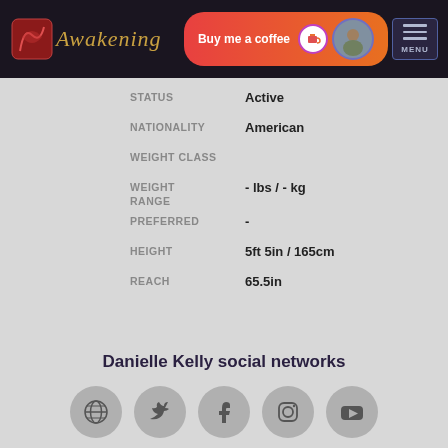Awakening — Buy me a coffee — MENU
| Field | Value |
| --- | --- |
| STATUS | Active |
| NATIONALITY | American |
| WEIGHT CLASS |  |
| WEIGHT RANGE | - lbs / - kg |
| PREFERRED | - |
| HEIGHT | 5ft 5in / 165cm |
| REACH | 65.5in |
Danielle Kelly social networks
[Figure (infographic): Row of five social network icon circles: globe/website, Twitter, Facebook, Instagram, YouTube]